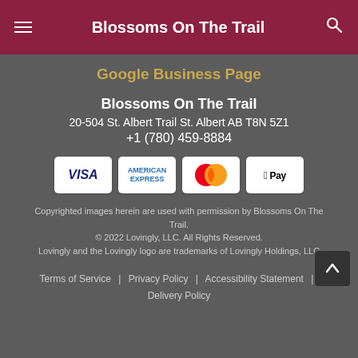Blossoms On The Trail
Google Business Page
Blossoms On The Trail
20-504 St. Albert Trail St. Albert AB T8N 5Z1
+1 (780) 459-8884
[Figure (infographic): Payment method icons: Visa, American Express, Mastercard, Apple Pay]
Copyrighted images herein are used with permission by Blossoms On The Trail.
© 2022 Lovingly, LLC. All Rights Reserved.
Lovingly and the Lovingly logo are trademarks of Lovingly Holdings, LLC
Terms of Service | Privacy Policy | Accessibility Statement | Delivery Policy